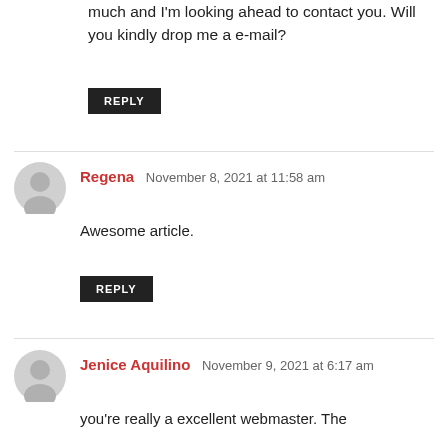much and I'm looking ahead to contact you. Will you kindly drop me a e-mail?
REPLY
Regena  November 8, 2021 at 11:58 am
Awesome article.
REPLY
Jenice Aquilino  November 9, 2021 at 6:17 am
you're really a excellent webmaster. The